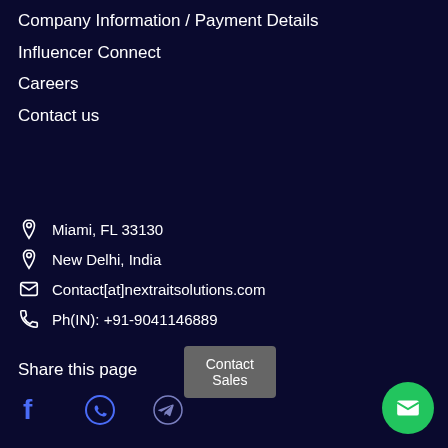Company Information / Payment Details
Influencer Connect
Careers
Contact us
Miami, FL 33130
New Delhi, India
Contact[at]nextraitsolutions.com
Ph(IN): +91-9041146889
Share this page
[Figure (other): Social share icons: Facebook, WhatsApp, Telegram]
Contact Sales
[Figure (other): Green circular email/contact FAB button with envelope icon]